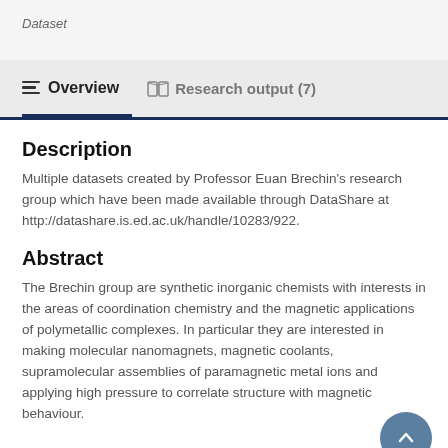Dataset
Overview
Research output (7)
Description
Multiple datasets created by Professor Euan Brechin's research group which have been made available through DataShare at http://datashare.is.ed.ac.uk/handle/10283/922.
Abstract
The Brechin group are synthetic inorganic chemists with interests in the areas of coordination chemistry and the magnetic applications of polymetallic complexes. In particular they are interested in making molecular nanomagnets, magnetic coolants, supramolecular assemblies of paramagnetic metal ions and applying high pressure to correlate structure with magnetic behaviour.